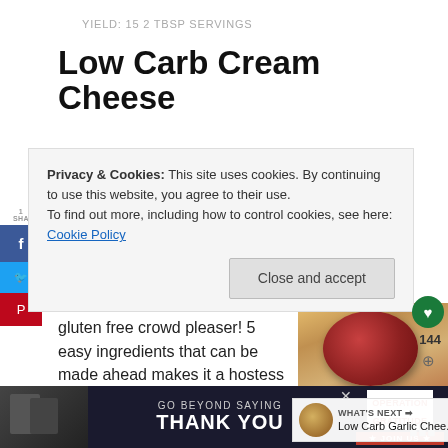YIELD: 15 2 TBSP SERVINGS
Low Carb Cream Cheese
Privacy & Cookies: This site uses cookies. By continuing to use this website, you agree to their use.
To find out more, including how to control cookies, see here: Cookie Policy
Close and accept
gluten free crowd pleaser! 5 easy ingredients that can be made ahead makes it a hostess pleaser too! And only 2 Carbs per serving!
[Figure (photo): A cream cheese ball covered in red seasoning served on a plate with crackers]
WHAT'S NEXT → Low Carb Garlic Chee...
[Figure (photo): Operation Gratitude Go Beyond Saying Thank You advertisement banner]